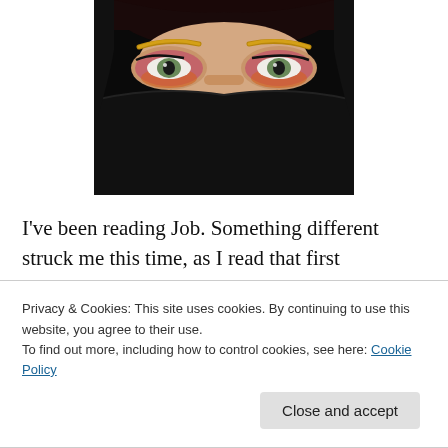[Figure (photo): Close-up photo of a woman's eyes with dramatic colorful eye makeup (pink, purple, orange, gold eyeshadow), dark eyebrows, with the lower half of her face covered by a black fabric or niqab. Background is dark/black.]
I've been reading Job. Something different struck me this time, as I read that first distressing chapter. Job lost everything: his children, his livestock, his wealth, his health and ultimately his hope. One person, however
Privacy & Cookies: This site uses cookies. By continuing to use this website, you agree to their use.
To find out more, including how to control cookies, see here: Cookie Policy
Close and accept